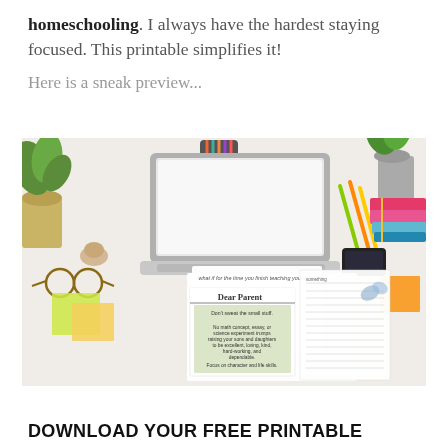homeschooling. I always have the hardest staying focused. This printable simplifies it!
Here is a sneak preview...
[Figure (photo): A desk scene with a laptop, colored pencils in a holder, sticky notes, glasses, plant, stacked notebooks, and a printable worksheet showing 'Dear Parent' text with motivational content]
DOWNLOAD YOUR FREE PRINTABLE